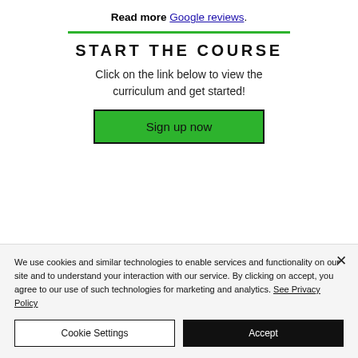Read more Google reviews.
START THE COURSE
Click on the link below to view the curriculum and get started!
Sign up now
We use cookies and similar technologies to enable services and functionality on our site and to understand your interaction with our service. By clicking on accept, you agree to our use of such technologies for marketing and analytics. See Privacy Policy
Cookie Settings
Accept